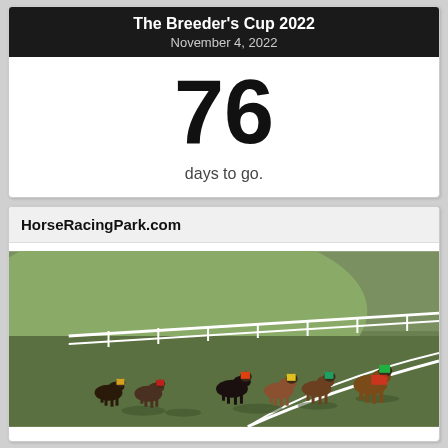The Breeder's Cup 2022
November 4, 2022
76
days to go.
HorseRacingPark.com
[Figure (photo): Aerial/elevated view of horse race in progress on a grass track, showing multiple horses and jockeys rounding a bend. Jockeys wearing colorful attire. Green grass turf track with white rail visible.]